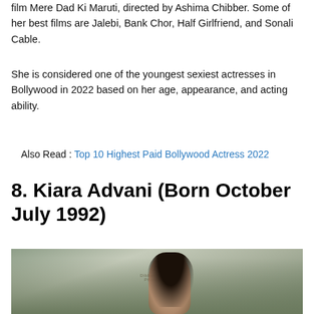film Mere Dad Ki Maruti, directed by Ashima Chibber. Some of her best films are Jalebi, Bank Chor, Half Girlfriend, and Sonali Cable.
She is considered one of the youngest sexiest actresses in Bollywood in 2022 based on her age, appearance, and acting ability.
Also Read : Top 10 Highest Paid Bollywood Actress 2022
8. Kiara Advani (Born October July 1992)
[Figure (photo): Photo of Kiara Advani with watermark 'R Dibben Rayann Photograph' on a green blurred background]